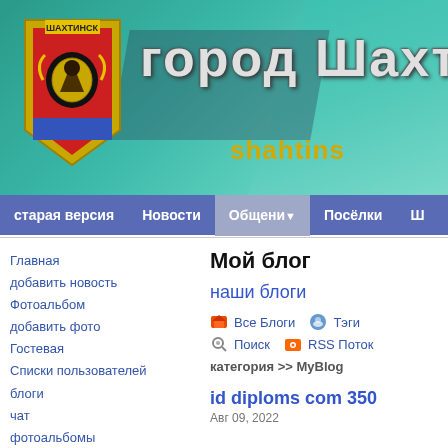[Figure (screenshot): Website header banner with teal/green gradient background, city coat of arms (shield) on left, large Russian text 'город Шахт' (city name) in metallic letters, and 'shahtins' subtitle in gold/yellow]
старая версия  Новости  Общени  Посёлки  Ш
Главная
добавить новость
Фотоальбом
добавить фото
Гостевая
Списки пользователей
блоги
чат
фотоальбомы
Помощь по сайту
Прогноз погоды Шахтинск
Мой блог
наши блоги
🏠 Все Блоги  💬 Тэги
🔍 Поиск  📡 RSS Поток
категория >> MyBlog
id diploms com 350
Авг 09, 2022